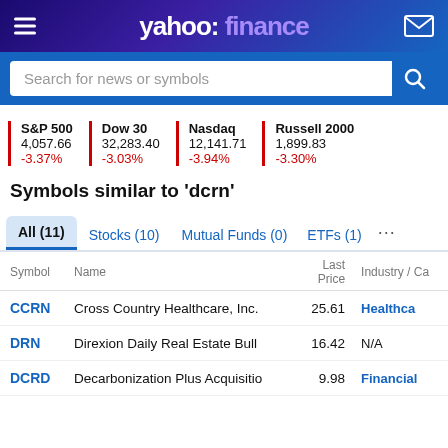yahoo! finance
Search for news or symbols
S&P 500 4,057.66 -3.37% | Dow 30 32,283.40 -3.03% | Nasdaq 12,141.71 -3.94% | Russell 2000 1,899.83 -3.30%
Symbols similar to 'dcrn'
All (11)   Stocks (10)   Mutual Funds (0)   ETFs (1)
| Symbol | Name | Last Price | Industry / Ca |
| --- | --- | --- | --- |
| CCRN | Cross Country Healthcare, Inc. | 25.61 | Healthcare |
| DRN | Direxion Daily Real Estate Bull | 16.42 | N/A |
| DCRD | Decarbonization Plus Acquisitio | 9.98 | Financial |